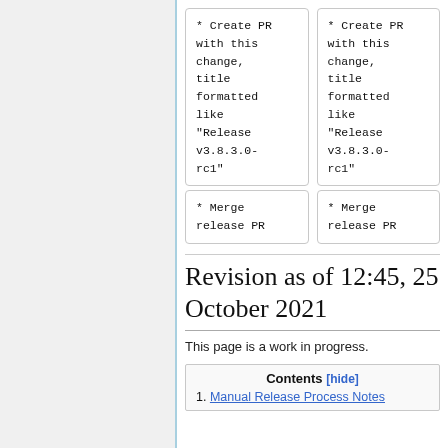* Create PR with this change, title formatted like "Release v3.8.3.0-rc1"
* Create PR with this change, title formatted like "Release v3.8.3.0-rc1"
* Merge release PR
* Merge release PR
Revision as of 12:45, 25 October 2021
This page is a work in progress.
| Contents [hide] |
| --- |
| 1. Manual Release Process Notes |